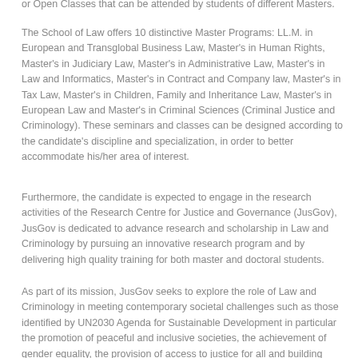or Open Classes that can be attended by students of different Masters.
The School of Law offers 10 distinctive Master Programs: LL.M. in European and Transglobal Business Law, Master's in Human Rights, Master's in Judiciary Law, Master's in Administrative Law, Master's in Law and Informatics, Master's in Contract and Company law, Master's in Tax Law, Master's in Children, Family and Inheritance Law, Master's in European Law and Master's in Criminal Sciences (Criminal Justice and Criminology). These seminars and classes can be designed according to the candidate's discipline and specialization, in order to better accommodate his/her area of interest.
Furthermore, the candidate is expected to engage in the research activities of the Research Centre for Justice and Governance (JusGov), JusGov is dedicated to advance research and scholarship in Law and Criminology by pursuing an innovative research program and by delivering high quality training for both master and doctoral students.
As part of its mission, JusGov seeks to explore the role of Law and Criminology in meeting contemporary societal challenges such as those identified by UN2030 Agenda for Sustainable Development in particular the promotion of peaceful and inclusive societies, the achievement of gender equality, the provision of access to justice for all and building